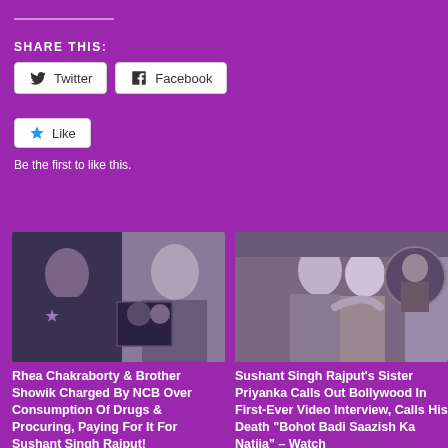SHARE THIS:
Twitter
Facebook
Like
Be the first to like this.
[Figure (photo): Rhea Chakraborty and Brother Showik collage image]
Rhea Chakraborty & Brother Showik Charged By NCB Over Consumption Of Drugs & Procuring, Paying For It For Sushant Singh Rajput!
June 23, 2022
[Figure (photo): Sushant Singh Rajput's Sister Priyanka collage image]
Sushant Singh Rajput's Sister Priyanka Calls Out Bollywood In First-Ever Video Interview, Calls His Death “Bohot Badi Saazish Ka Natija” – Watch